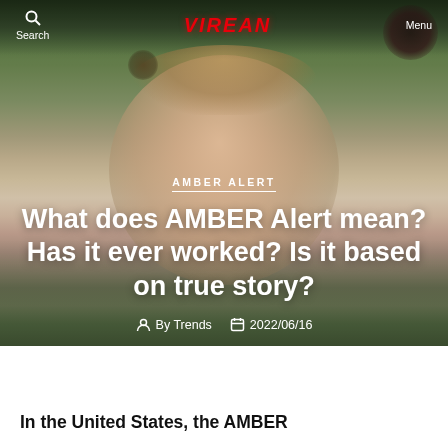Search | VIREAN | Menu
[Figure (photo): Close-up photo of a smiling toddler girl with light hair and pigtails, outdoors with green background]
AMBER ALERT
What does AMBER Alert mean? Has it ever worked? Is it based on true story?
By Trends  2022/06/16
In the United States, the AMBER